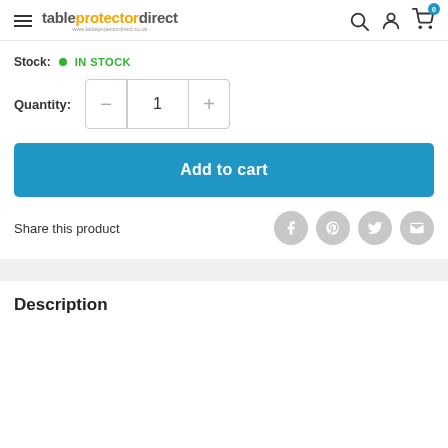tableprotectordirect
Stock: IN STOCK
Quantity: 1
Add to cart
Share this product
Description